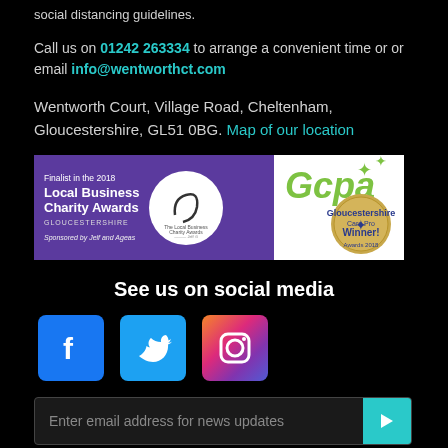social distancing guidelines.
Call us on 01242 263334 to arrange a convenient time or or email info@wentworthct.com
Wentworth Court, Village Road, Cheltenham, Gloucestershire, GL51 0BG. Map of our location
[Figure (other): Awards badge: Finalist in the 2018 Local Business Charity Awards Gloucestershire, Sponsored by Jelf and Ageas, with circular logo. Next to it a GCPA Winner badge.]
See us on social media
[Figure (infographic): Social media icons: Facebook (blue), Twitter (light blue), Instagram (gradient)]
Enter email address for news updates